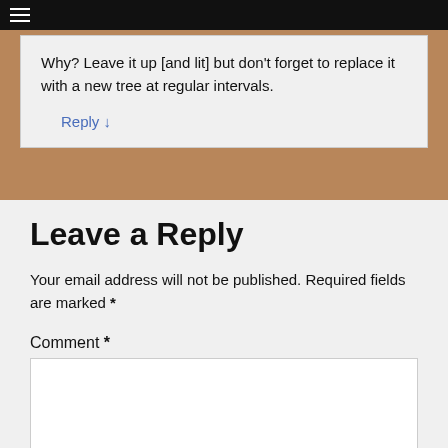≡
Why?  Leave it up [and lit] but don't forget to replace it with a new tree at regular intervals.
Reply ↓
Leave a Reply
Your email address will not be published. Required fields are marked *
Comment *